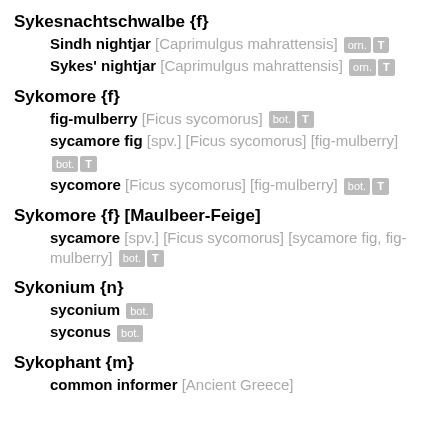Sykesnachtschwalbe {f}
Sindh nightjar [Caprimulgus mahrattensis] orn. T
Sykes' nightjar [Caprimulgus mahrattensis] orn. T
Sykomore {f}
fig-mulberry [Ficus sycomorus] bot. T
sycamore fig [spv.] [Ficus sycomorus] [fig-mulberry] bot. T
sycomore [Ficus sycomorus] [fig-mulberry] bot. T
Sykomore {f} [Maulbeer-Feige]
sycamore [spv.] [Ficus sycomorus] [sycamore fig, fig-mulberry] bot. T
Sykonium {n}
syconium bot.
syconus bot.
Sykophant {m}
common informer [Ancient Greece]